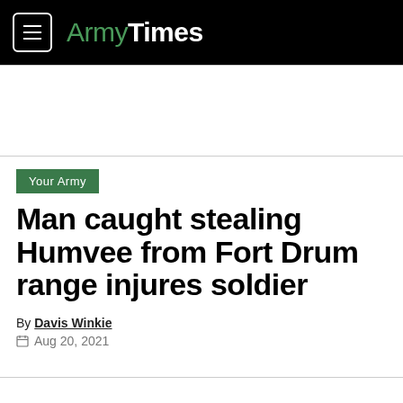ArmyTimes
Your Army
Man caught stealing Humvee from Fort Drum range injures soldier
By Davis Winkie
Aug 20, 2021